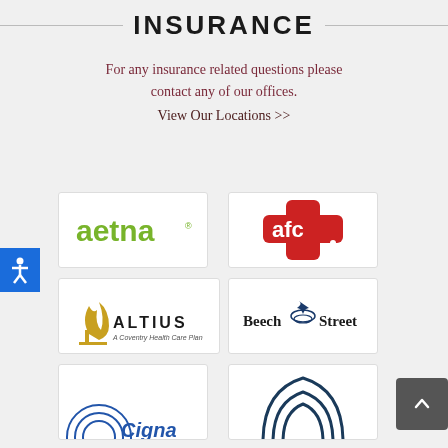INSURANCE
For any insurance related questions please contact any of our offices.
View Our Locations >>
[Figure (logo): Aetna insurance logo in green text]
[Figure (logo): AFC logo — red cross with white letters AFC]
[Figure (logo): Altius A Coventry Health Care Plan logo]
[Figure (logo): Beech Street logo with stylized arrow graphic]
[Figure (logo): Cigna logo partial view]
[Figure (logo): Another insurance company logo partial view]